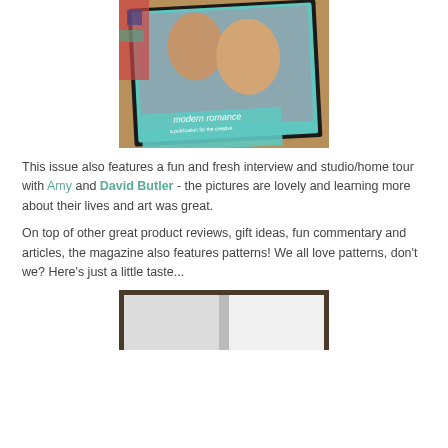[Figure (photo): Photo of a magazine titled 'modern romance' lying on a wooden surface, showing a smiling couple on the cover with a teal/turquoise border. A colorful quilt or fabric is visible in the background.]
This issue also features a fun and fresh interview and studio/home tour with Amy and David Butler - the pictures are lovely and learning more about their lives and art was great.
On top of other great product reviews, gift ideas, fun commentary and articles, the magazine also features patterns! We all love patterns, don't we? Here's just a little taste...
[Figure (photo): Partial photo of an open magazine showing a white page, cropped at the bottom of the page.]